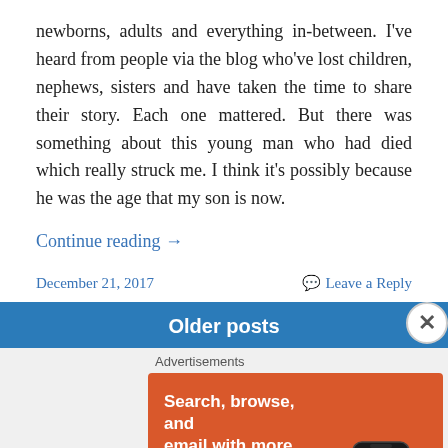newborns, adults and everything in-between. I've heard from people via the blog who've lost children, nephews, sisters and have taken the time to share their story. Each one mattered. But there was something about this young man who had died which really struck me. I think it's possibly because he was the age that my son is now.
Continue reading →
December 21, 2017
💬 Leave a Reply
Older posts
Advertisements
[Figure (infographic): DuckDuckGo advertisement banner on orange background. Left side shows bold white text: 'Search, browse, and email with more privacy.' with a white button 'All in One Free App'. Right side shows a stylized smartphone with DuckDuckGo logo and 'DuckDuckGo.' text.]